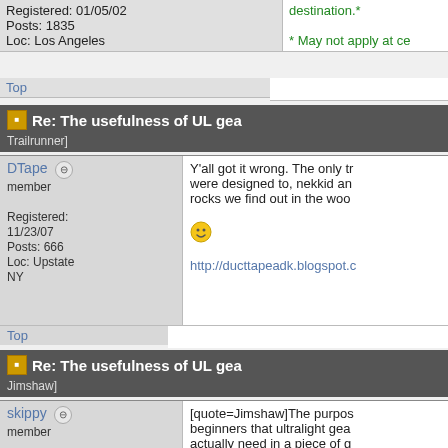Registered: 01/05/02
Posts: 1835
Loc: Los Angeles
destination.*
* May not apply at ce
Top
Re: The usefulness of UL gea
Trailrunner]
DTape
member
Registered: 11/23/07
Posts: 666
Loc: Upstate NY
Y'all got it wrong. The only tr were designed to, nekkid an rocks we find out in the woo
http://ducttapeadk.blogspot.c
Top
Re: The usefulness of UL gea
Jimshaw]
skippy
member
Registered: 12/27/09
Posts: 129
[quote=Jimshaw]The purpos beginners that ultralight gea actually need in a piece of g weighs.

quote]